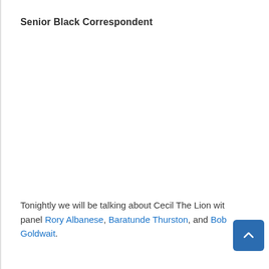Senior Black Correspondent
Tonightly we will be talking about Cecil The Lion with panel Rory Albanese, Baratunde Thurston, and Bob Goldwait.